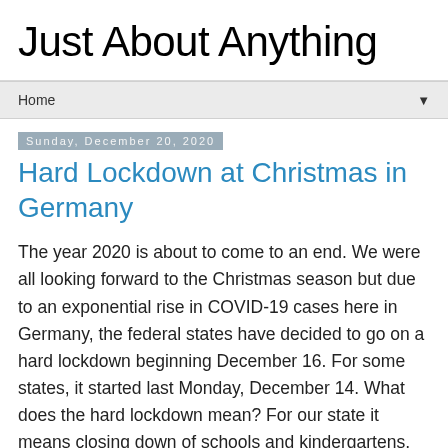Just About Anything
Home ▼
Sunday, December 20, 2020
Hard Lockdown at Christmas in Germany
The year 2020 is about to come to an end. We were all looking forward to the Christmas season but due to an exponential rise in COVID-19 cases here in Germany, the federal states have decided to go on a hard lockdown beginning December 16. For some states, it started last Monday, December 14. What does the hard lockdown mean? For our state it means closing down of schools and kindergartens, and shops and retail businesses too. Beauty salons are also closed. Bars and clubs too. Restaurants are only allowed to sell food and beverage for takeout. There is a